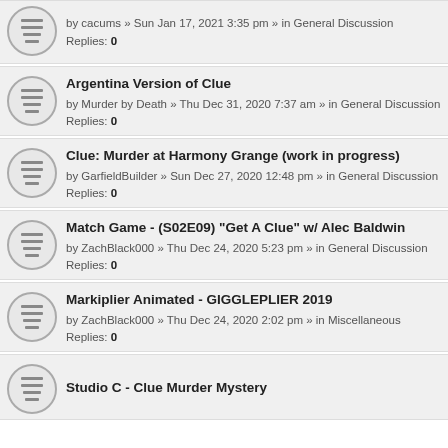by cacums » Sun Jan 17, 2021 3:35 pm » in General Discussion
Replies: 0
Argentina Version of Clue
by Murder by Death » Thu Dec 31, 2020 7:37 am » in General Discussion
Replies: 0
Clue: Murder at Harmony Grange (work in progress)
by GarfieldBuilder » Sun Dec 27, 2020 12:48 pm » in General Discussion
Replies: 0
Match Game - (S02E09) "Get A Clue" w/ Alec Baldwin
by ZachBlack000 » Thu Dec 24, 2020 5:23 pm » in General Discussion
Replies: 0
Markiplier Animated - GIGGLEPLIER 2019
by ZachBlack000 » Thu Dec 24, 2020 2:02 pm » in Miscellaneous
Replies: 0
Studio C - Clue Murder Mystery